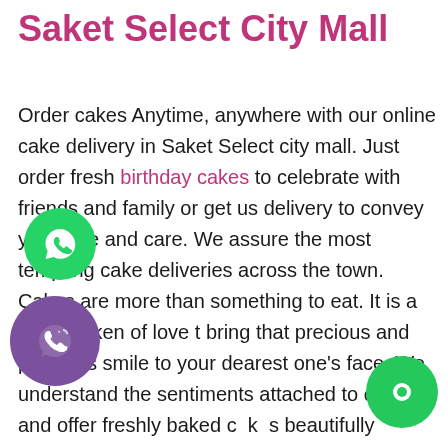Saket Select City Mall
Order cakes Anytime, anywhere with our online cake delivery in Saket Select city mall. Just order fresh birthday cakes to celebrate with friends and family or get us delivery to convey your love and care. We assure the most tempting cake deliveries across the town. Cakes are more than something to eat. It is a sweet token of love t bring that precious and priceless smile to your dearest one’s face. We understand the sentiments attached to our art and offer freshly baked cakes beautifully decorated for special occasions. We offer the fastest shipping service on the desired location without compromising on the quality or perfection of our cakes. Irrespective of the size be it a
[Figure (illustration): WhatsApp green circle icon]
[Figure (illustration): Viber/call purple circle icon]
[Figure (illustration): Chat green circle icon bottom right]